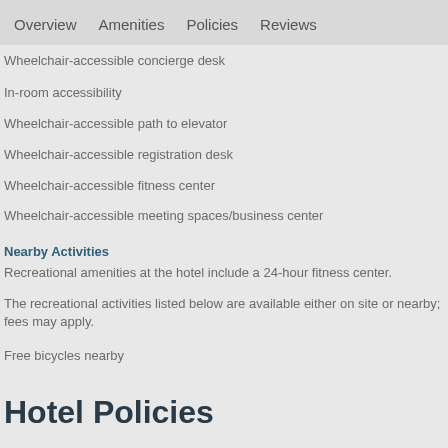Overview   Amenities   Policies   Reviews
Wheelchair-accessible concierge desk
In-room accessibility
Wheelchair-accessible path to elevator
Wheelchair-accessible registration desk
Wheelchair-accessible fitness center
Wheelchair-accessible meeting spaces/business center
Nearby Activities
Recreational amenities at the hotel include a 24-hour fitness center.
The recreational activities listed below are available either on site or nearby; fees may apply.
Free bicycles nearby
Hotel Policies
Payment types